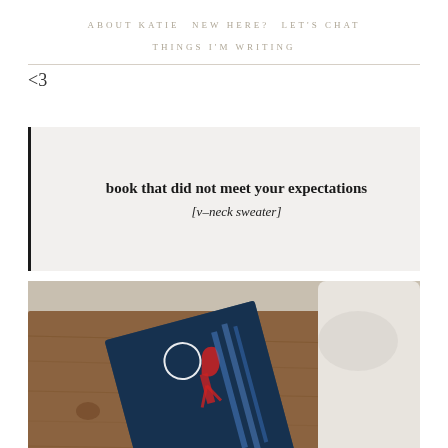ABOUT KATIE   NEW HERE?   LET'S CHAT   THINGS I'M WRITING
<3
[Figure (illustration): Decorative Greek key/meander border pattern in gold/tan color]
book that did not meet your expectations [v-neck sweater]
[Figure (photo): Photo of a book titled 'Renegades' lying on a wooden surface with white fabric in background]